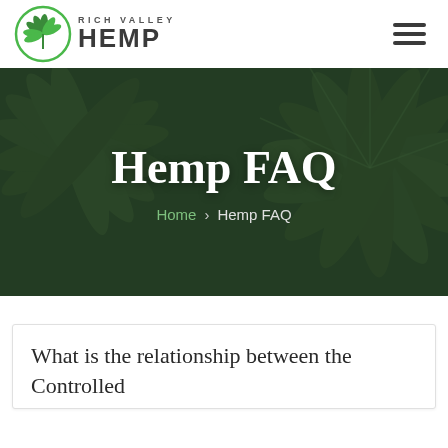[Figure (logo): Rich Valley Hemp logo with hemp leaf icon in green circle and stylized text]
[Figure (illustration): Hamburger menu icon (three horizontal lines)]
[Figure (photo): Hero banner with dark green hemp leaf background and overlay]
Hemp FAQ
Home > Hemp FAQ
What is the relationship between the Controlled